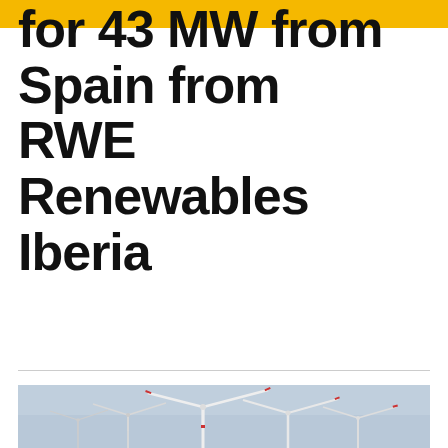for 43 MW from Spain from RWE Renewables Iberia
[Figure (photo): Wind turbines against a light blue sky, photographed from a low angle showing multiple turbines with red-tipped blades]